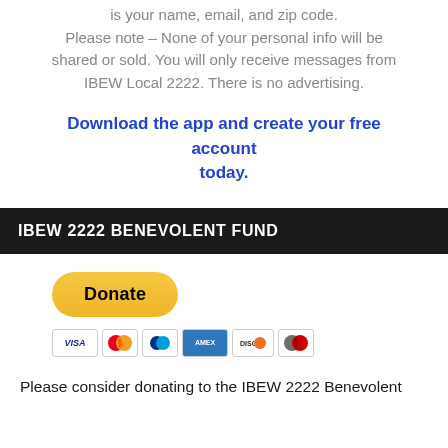is your name, email, and zip code. Please note – None of your personal info will be shared or sold. You will only receive messages from IBEW Local 2222. There is no advertising.
Download the app and create your free account today.
IBEW 2222 BENEVOLENT FUND
[Figure (other): PayPal Donate button with payment method icons (Visa, Mastercard, PayPal, American Express, Discover, Maestro)]
Please consider donating to the IBEW 2222 Benevolent